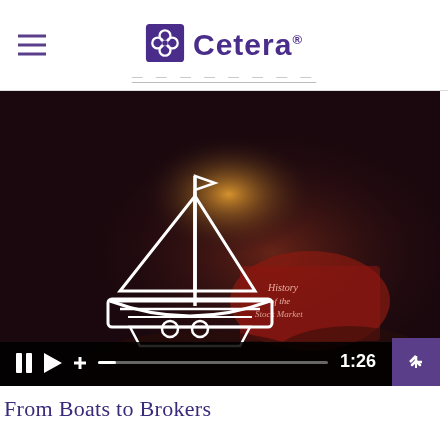Cetera
[Figure (screenshot): Video thumbnail showing a dark background with a white outline sailboat icon overlaid on a person reading a stock market history book. Video controls visible at bottom showing pause, play, plus buttons, progress bar, and 1:26 timestamp.]
From Boats to Brokers